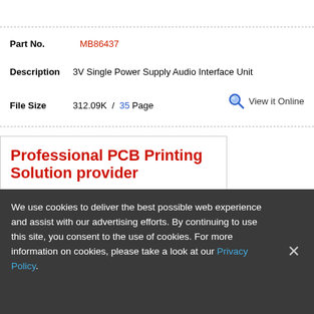Part No.   MB86437
Description   3V Single Power Supply Audio Interface Unit
File Size   312.09K / 35 Page   View it Online
[Figure (illustration): Advertisement banner for Professional PCB Printing Solution provider. Text reads: 'Professional PCB Printing Solution provider'. Subtext: '20 years focused on the PCB industry, Committed to building industry leading brands'. Bottom shows a colorful image of PCB boards.]
We use cookies to deliver the best possible web experience and assist with our advertising efforts. By continuing to use this site, you consent to the use of cookies. For more information on cookies, please take a look at our Privacy Policy.